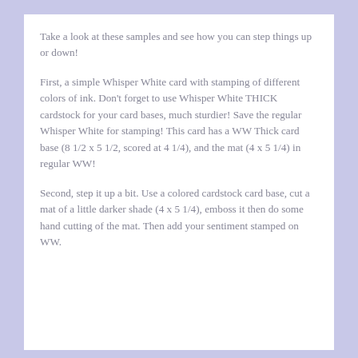Take a look at these samples and see how you can step things up or down!
First, a simple Whisper White card with stamping of different colors of ink. Don't forget to use Whisper White THICK cardstock for your card bases, much sturdier! Save the regular Whisper White for stamping! This card has a WW Thick card base (8 1/2 x 5 1/2, scored at 4 1/4), and the mat (4 x 5 1/4) in regular WW!
Second, step it up a bit. Use a colored cardstock card base, cut a mat of a little darker shade (4 x 5 1/4), emboss it then do some hand cutting of the mat. Then add your sentiment stamped on WW.